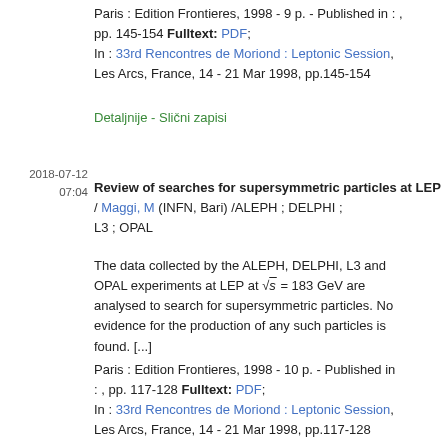Paris : Edition Frontieres, 1998 - 9 p. - Published in : , pp. 145-154 Fulltext: PDF; In : 33rd Rencontres de Moriond : Leptonic Session, Les Arcs, France, 14 - 21 Mar 1998, pp.145-154
Detaljnije - Slični zapisi
2018-07-12
07:04
Review of searches for supersymmetric particles at LEP / Maggi, M (INFN, Bari) /ALEPH ; DELPHI ; L3 ; OPAL
The data collected by the ALEPH, DELPHI, L3 and OPAL experiments at LEP at √s = 183 GeV are analysed to search for supersymmetric particles. No evidence for the production of any such particles is found. [...]
Paris : Edition Frontieres, 1998 - 10 p. - Published in : , pp. 117-128 Fulltext: PDF; In : 33rd Rencontres de Moriond : Leptonic Session, Les Arcs, France, 14 - 21 Mar 1998, pp.117-128